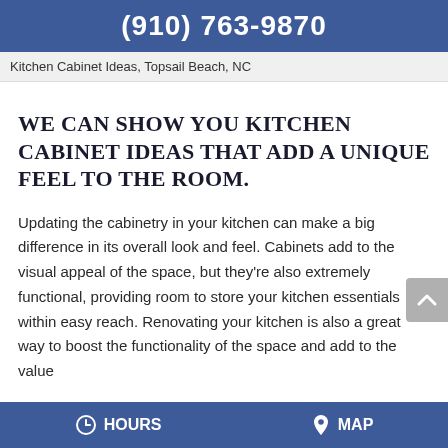(910) 763-9870
Kitchen Cabinet Ideas, Topsail Beach, NC
WE CAN SHOW YOU KITCHEN CABINET IDEAS THAT ADD A UNIQUE FEEL TO THE ROOM.
Updating the cabinetry in your kitchen can make a big difference in its overall look and feel. Cabinets add to the visual appeal of the space, but they're also extremely functional, providing room to store your kitchen essentials within easy reach. Renovating your kitchen is also a great way to boost the functionality of the space and add to the value
HOURS   MAP